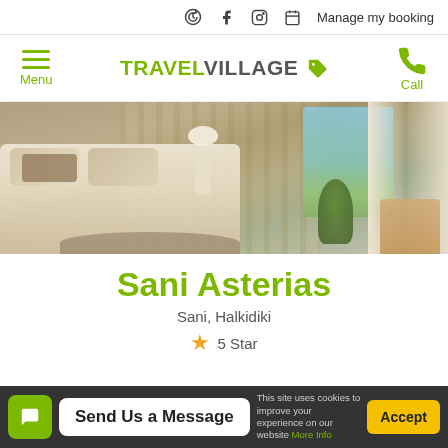Facebook | Instagram | Manage my booking
[Figure (logo): Travel Village logo with hamburger menu icon and phone call icon. Menu label on left, TRAVELVILLAGE with tag icon in center, Call label on right.]
[Figure (photo): Hotel room photo showing a luxurious bedroom with a large bed, pillows, a lamp, and a balcony/window view of the sea and greenery.]
Sani Asterias
Sani, Halkidiki
★ 5 Star
Send Us a Message
This site uses cookies to improve your experience on our website More Info
Accept